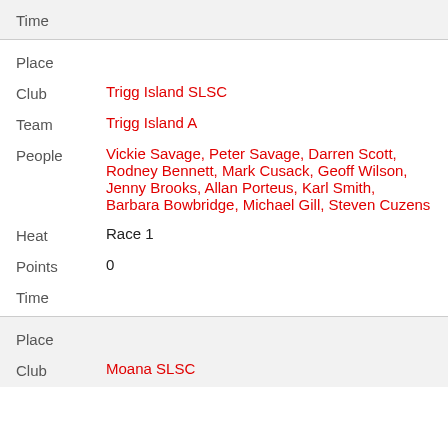| Time |  |
| Place |  |
| Club | Trigg Island SLSC |
| Team | Trigg Island A |
| People | Vickie Savage, Peter Savage, Darren Scott, Rodney Bennett, Mark Cusack, Geoff Wilson, Jenny Brooks, Allan Porteus, Karl Smith, Barbara Bowbridge, Michael Gill, Steven Cuzens |
| Heat | Race 1 |
| Points | 0 |
| Time |  |
| Place |  |
| Club | Moana SLSC |